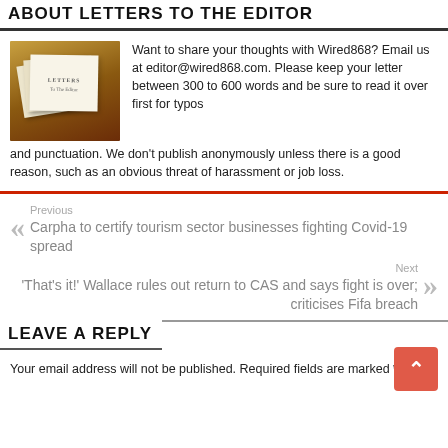ABOUT LETTERS TO THE EDITOR
[Figure (photo): Stack of letters envelopes on a wooden surface with text 'LETTERS To The Editor']
Want to share your thoughts with Wired868? Email us at editor@wired868.com. Please keep your letter between 300 to 600 words and be sure to read it over first for typos and punctuation. We don't publish anonymously unless there is a good reason, such as an obvious threat of harassment or job loss.
Previous
Carpha to certify tourism sector businesses fighting Covid-19 spread
Next
'That's it!' Wallace rules out return to CAS and says fight is over; criticises Fifa breach
LEAVE A REPLY
Your email address will not be published. Required fields are marked *